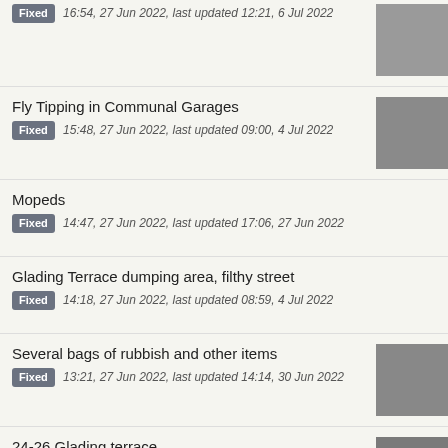Fixed 16:54, 27 Jun 2022, last updated 12:21, 6 Jul 2022
Fly Tipping in Communal Garages
Fixed 15:48, 27 Jun 2022, last updated 09:00, 4 Jul 2022
Mopeds
Fixed 14:47, 27 Jun 2022, last updated 17:06, 27 Jun 2022
Glading Terrace dumping area, filthy street
Fixed 14:18, 27 Jun 2022, last updated 08:59, 4 Jul 2022
Several bags of rubbish and other items
Fixed 13:21, 27 Jun 2022, last updated 14:14, 30 Jun 2022
24-26 Glading terrace
Fixed 12:27, 27 Jun 2022, last updated 08:59, 4 Jul 2022
End of Glading Terrace
Fixed 12:25, 27 Jun 2022, last updated 08:58, 4 Jul